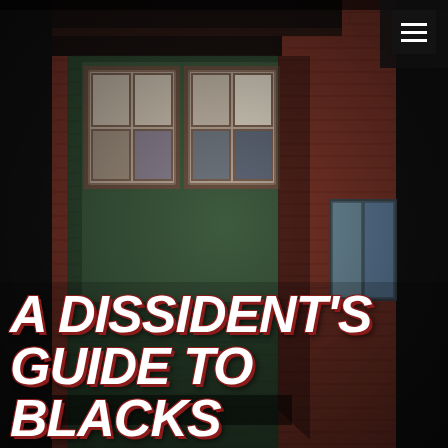[Figure (photo): Photograph of a red brick building exterior with a green shingle-clad bay window structure projecting from the facade, showing two double-hung windows. The brick building to the right has additional windows visible. The image has a vintage, slightly faded color quality.]
A DISSIDENT'S GUIDE TO BLACKS